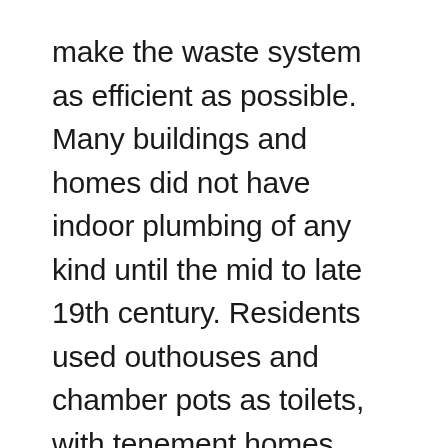make the waste system as efficient as possible. Many buildings and homes did not have indoor plumbing of any kind until the mid to late 19th century. Residents used outhouses and chamber pots as toilets, with tenement homes often forcing 25 or 30 people to share one latrine.
As you can imagine, vermin and disease were as much of an issue as privacy was in those days. Removing human waste was a big business, and “night soil” cart